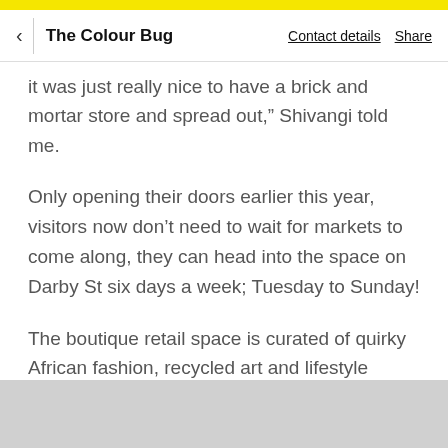The Colour Bug | Contact details | Share
it was just really nice to have a brick and mortar store and spread out,” Shivangi told me.
Only opening their doors earlier this year, visitors now don’t need to wait for markets to come along, they can head into the space on Darby St six days a week; Tuesday to Sunday!
The boutique retail space is curated of quirky African fashion, recycled art and lifestyle products; all lovingly handcrafted by artisans and women’s collectives in different parts of Africa.
[Figure (photo): Bottom of page image stub, grey background, partial view of a photo]